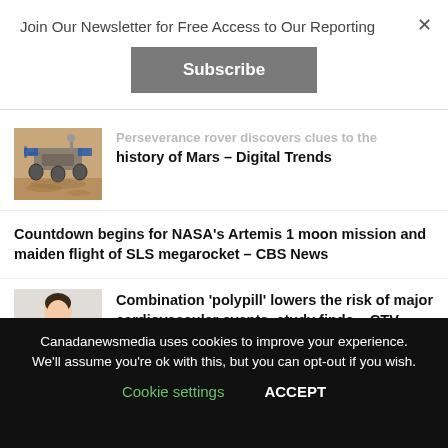Join Our Newsletter for Free Access to Our Reporting
Subscribe
... history of Mars – Digital Trends
[Figure (photo): Mars rover on the surface of Mars]
Countdown begins for NASA's Artemis 1 moon mission and maiden flight of SLS megarocket – CBS News
[Figure (photo): Person in white clothing, medical/health related]
Combination 'polypill' lowers the risk of major cardiovascular events, study finds – CTV News
Canadanewsmedia uses cookies to improve your experience. We'll assume you're ok with this, but you can opt-out if you wish.
Cookie settings
ACCEPT